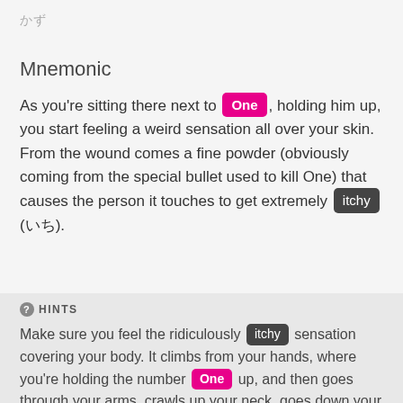かず
Mnemonic
As you're sitting there next to [One], holding him up, you start feeling a weird sensation all over your skin. From the wound comes a fine powder (obviously coming from the special bullet used to kill One) that causes the person it touches to get extremely itchy (いち).
HINTS
Make sure you feel the ridiculously itchy sensation covering your body. It climbs from your hands, where you're holding the number One up, and then goes through your arms, crawls up your neck, goes down your body, and then covers everything. It becomes uncontrollable, and you're scratching everywhere, writhing on the ground. It's so itchy